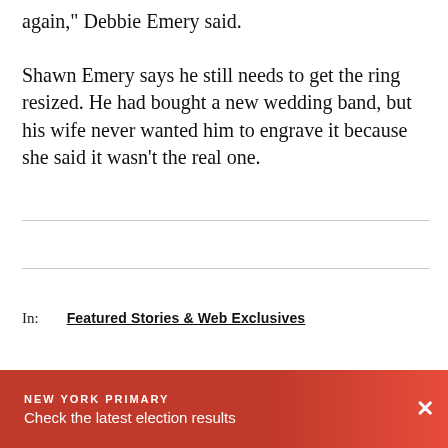again," Debbie Emery said.
Shawn Emery says he still needs to get the ring resized. He had bought a new wedding band, but his wife never wanted him to engrave it because she said it wasn't the real one.
In: Featured Stories & Web Exclusives
Andrea Grymes
Andrea Grymes joine... assignment reporter...
[Figure (infographic): Breaking news banner with red gradient background reading NEW YORK PRIMARY - Check the latest election results, with a close (X) button on the right.]